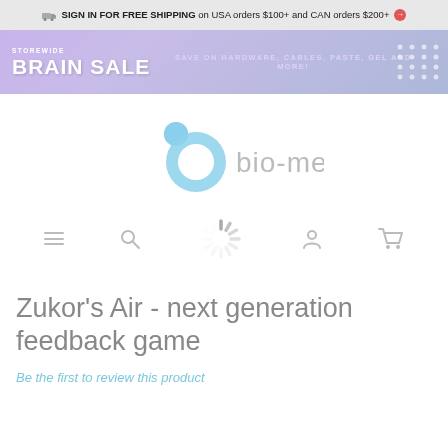SIGN IN FOR FREE SHIPPING on USA orders $100+ and CAN orders $200+
[Figure (infographic): Storewide Brain Sale promotional banner with purple gradient background and dot pattern]
[Figure (logo): bio-medical logo with blue circular icon and grey text]
[Figure (infographic): Navigation bar with hamburger menu, search, loading spinner, user icon, and cart icon]
Zukor's Air - next generation feedback game
Be the first to review this product